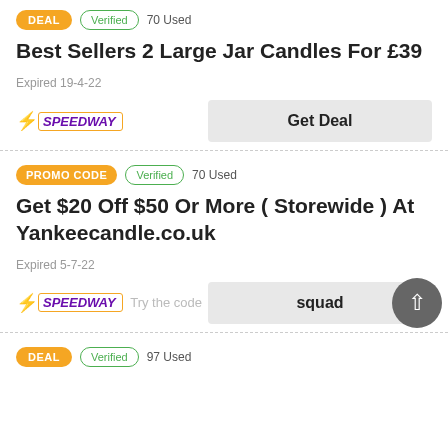Best Sellers 2 Large Jar Candles For £39
Expired 19-4-22
Get Deal
PROMO CODE   Verified   70 Used
Get $20 Off $50 Or More ( Storewide ) At Yankeecandle.co.uk
Expired 5-7-22
Try the code   squad
DEAL   Verified   97 Used